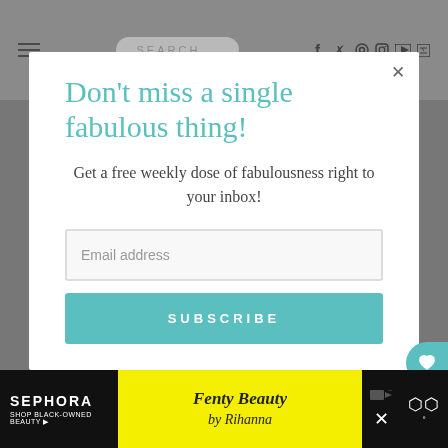SEARCH...
Don't miss a single fabulous thing!
Get a free weekly dose of fabulousness right to your inbox!
Email address
SUBSCRIBE
[Figure (screenshot): Newsletter subscription modal popup on a lifestyle/beauty blog with email input and subscribe button. Background shows a gray website header with search bar and social icons, and a Sephora/Fenty Beauty advertisement banner at the bottom.]